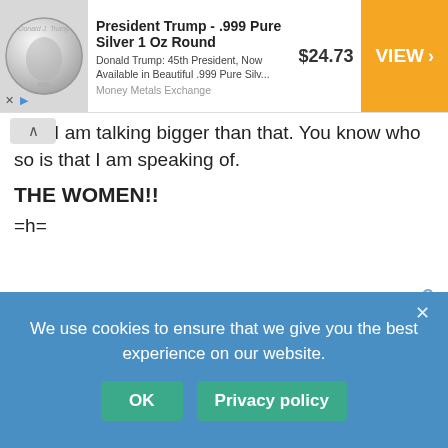[Figure (screenshot): Advertisement banner for 'President Trump - .999 Pure Silver 1 Oz Round' showing a silver coin with Trump's profile, price $24.73, and an orange VIEW button. Source: Money Metals Exchange.]
ist... I am talking bigger than that. You know who so is that I am speaking of.
THE WOMEN!!
=h=
Thomas Jensen  ⊙  January 23, 2009 2:39 pm  🔗
I've been watching this show per the articles posted at this site. I never knew about it until I heard about it here. And I love it, great show, clever and very funny!
TK  ⊙  January 23, 2009 3:03 pm  🔗
isn't leonard supp osed to have taped his mouth with
We use cookies to ensure that we give you the best experience on our website.
OK    Privacy policy